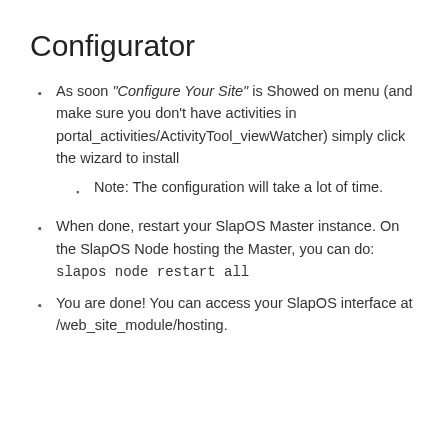Configurator
As soon "Configure Your Site" is Showed on menu (and make sure you don't have activities in portal_activities/ActivityTool_viewWatcher) simply click the wizard to install
Note: The configuration will take a lot of time.
When done, restart your SlapOS Master instance. On the SlapOS Node hosting the Master, you can do:
slapos node restart all
You are done! You can access your SlapOS interface at /web_site_module/hosting.